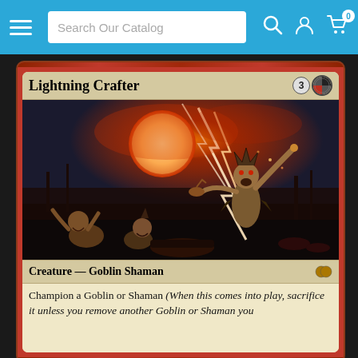Search Our Catalog
[Figure (illustration): Magic: The Gathering card 'Lightning Crafter' — a red creature card showing a goblin shaman wielding lightning bolts against a red-glowing sky, with other goblins gathered below. Card type: Creature — Goblin Shaman. Cost: 3 plus a hybrid red/blue mana symbol. Card text: Champion a Goblin or Shaman (When this comes into play, sacrifice it unless you remove another Goblin or Shaman you control from the game. When this leaves play, that card returns to play).]
Champion a Goblin or Shaman (When this comes into play, sacrifice it unless you remove another Goblin or Shaman you